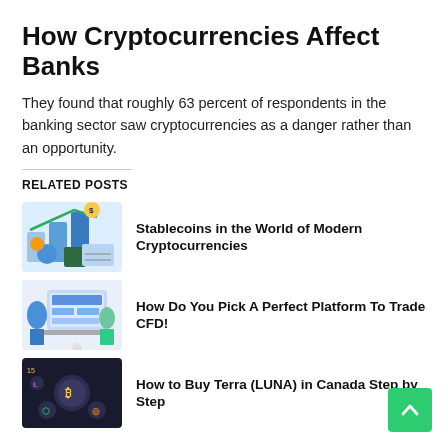How Cryptocurrencies Affect Banks
They found that roughly 63 percent of respondents in the banking sector saw cryptocurrencies as a danger rather than an opportunity.
RELATED POSTS
[Figure (illustration): Illustration of people and financial/cryptocurrency charts — Stablecoins article thumbnail]
Stablecoins in the World of Modern Cryptocurrencies
[Figure (illustration): Illustration of person with trading platform screens — CFD platform article thumbnail]
How Do You Pick A Perfect Platform To Trade CFD!
[Figure (illustration): Dark background with crypto coins including Bitcoin — Luna Canada article thumbnail]
How to Buy Terra (LUNA) in Canada Step by Step